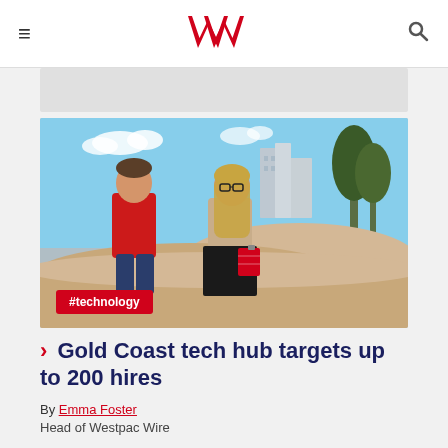Westpac Wire navigation header with hamburger menu, Westpac logo, and search icon
[Figure (photo): Two people standing on a beach with sand dunes, buildings and trees in the background. Person on left wears a red polo shirt; person on right wears a tan top and black skirt and holds a red book/folder.]
#technology
Gold Coast tech hub targets up to 200 hires
By Emma Foster
Head of Westpac Wire